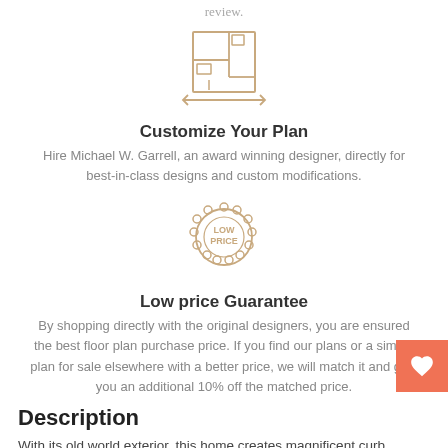review.
[Figure (illustration): Floor plan icon: a square outline with interior room lines and arrows indicating measurements, drawn in tan/gold line art]
Customize Your Plan
Hire Michael W. Garrell, an award winning designer, directly for best-in-class designs and custom modifications.
[Figure (illustration): Low price guarantee badge/seal: a circular stamp shape with scalloped edges and text 'LOW PRICE' inside, drawn in tan/gold line art]
Low price Guarantee
By shopping directly with the original designers, you are ensured the best floor plan purchase price. If you find our plans or a similar plan for sale elsewhere with a better price, we will match it and give you an additional 10% off the matched price.
Description
With its old world exterior, this home creates magnificent curb appeal. An over-sized kitchen is at the center of this home and